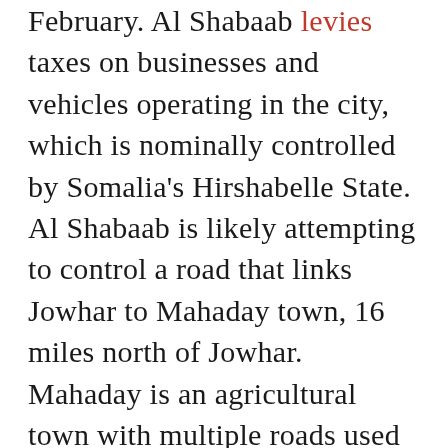February. Al Shabaab levies taxes on businesses and vehicles operating in the city, which is nominally controlled by Somalia's Hirshabelle State. Al Shabaab is likely attempting to control a road that links Jowhar to Mahaday town, 16 miles north of Jowhar. Mahaday is an agricultural town with multiple roads used to transport crops to surrounding villages. Al Shabaab *attempted an attack on a Somali National Army (SNA) base in Mahaday town on